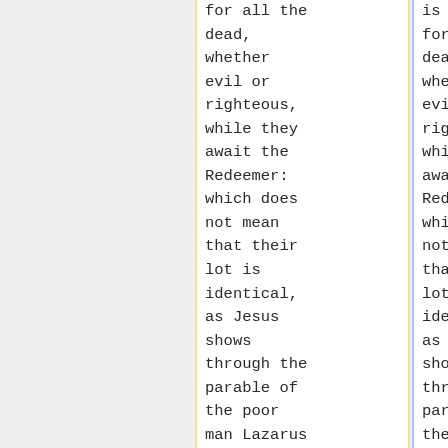for all the dead, whether evil or righteous, while they await the Redeemer: which does not mean that their lot is identical, as Jesus shows through the parable of the poor man Lazarus who was received into
is the case for all the dead, whether evil or righteous, while they await the Redeemer: which does not mean that their lot is identical, as Jesus shows through the parable of the poor man Lazarus who was received